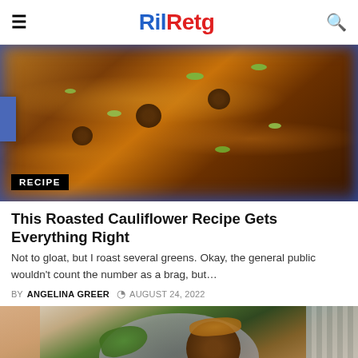RilRetg
[Figure (photo): Overhead view of a cast iron pan filled with ramen noodles, meatballs, and sliced green onions, with a RECIPE badge overlay in the bottom-left corner.]
This Roasted Cauliflower Recipe Gets Everything Right
Not to gloat, but I roast several greens. Okay, the general public wouldn’t count the number as a brag, but…
BY ANGELINA GREER  ◔ AUGUST 24, 2022
[Figure (photo): Close-up of a plate holding sliced avocado with black sesame seeds and a seared meat patty topped with caramelized onions, surrounded by arugula, held by a person.]